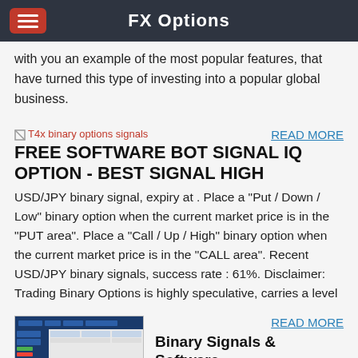FX Options
with you an example of the most popular features, that have turned this type of investing into a popular global business.
[Figure (screenshot): T4x binary options signals image placeholder (broken image icon with alt text)]
READ MORE
FREE SOFTWARE BOT SIGNAL IQ OPTION - BEST SIGNAL HIGH
USD/JPY binary signal, expiry at . Place a "Put / Down / Low" binary option when the current market price is in the "PUT area". Place a "Call / Up / High" binary option when the current market price is in the "CALL area". Recent USD/JPY binary signals, success rate : 61%. Disclaimer: Trading Binary Options is highly speculative, carries a level
[Figure (screenshot): Screenshot of a binary options trading platform website with blue header and data tables]
READ MORE
Binary Signals & Software -